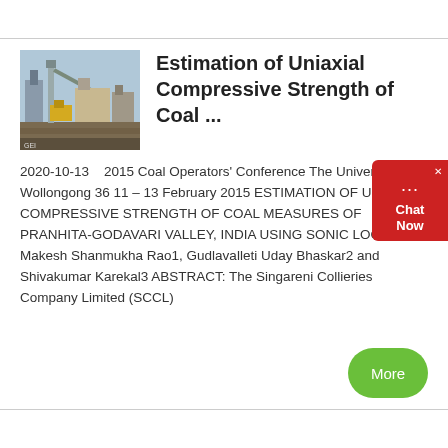[Figure (photo): Thumbnail photo of a coal mining facility with industrial equipment and machinery]
Estimation of Uniaxial Compressive Strength of Coal ...
2020-10-13    2015 Coal Operators' Conference The University of Wollongong 36 11 – 13 February 2015 ESTIMATION OF UNIAXIAL COMPRESSIVE STRENGTH OF COAL MEASURES OF PRANHITA-GODAVARI VALLEY, INDIA USING SONIC LOGS Makesh Shanmukha Rao1, Gudlavalleti Uday Bhaskar2 and Shivakumar Karekal3 ABSTRACT: The Singareni Collieries Company Limited (SCCL)